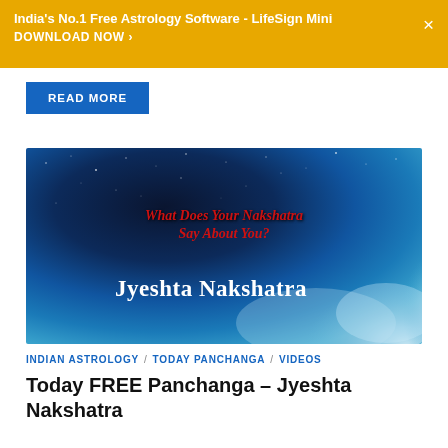India's No.1 Free Astrology Software - LifeSign Mini DOWNLOAD NOW ›
READ MORE
[Figure (illustration): Dark blue starry night sky background with text overlay reading 'What Does Your Nakshatra Say About You?' in red italic bold text, and 'Jyeshta Nakshatra' in large white serif text. Nebula/cloud formation visible in bottom right corner.]
INDIAN ASTROLOGY / TODAY PANCHANGA / VIDEOS
Today FREE Panchanga – Jyeshta Nakshatra